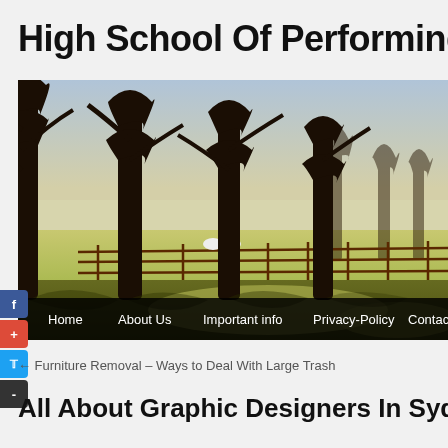High School Of Performing Ar
[Figure (photo): A tree-lined path with a wooden fence, sheep visible in the distance, sunlight filtering through bare trees over a green field. Navigation bar at bottom with: Home, About Us, Important info, Privacy-Policy, Contact Us]
← Furniture Removal – Ways to Deal With Large Trash
All About Graphic Designers In Sydney